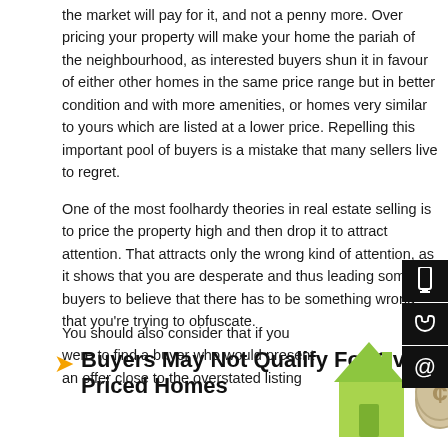the market will pay for it, and not a penny more. Over pricing your property will make your home the pariah of the neighbourhood, as interested buyers shun it in favour of either other homes in the same price range but in better condition and with more amenities, or homes very similar to yours which are listed at a lower price. Repelling this important pool of buyers is a mistake that many sellers live to regret.
One of the most foolhardy theories in real estate selling is to price the property high and then drop it to attract attention. That attracts only the wrong kind of attention, as it shows that you are desperate and thus leading some buyers to believe that there has to be something wrong that you're trying to obfuscate.
Buyers May Not Qualify For Over Priced Homes
You should also consider that if you were to find a buyer who would present an offer close to the overstated listing
[Figure (illustration): Green house illustration and beige dollar sign/coin illustration]